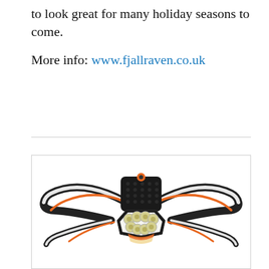to look great for many holiday seasons to come.

More info: www.fjallraven.co.uk
[Figure (photo): A headlamp/torch device with black, white, and orange straps fanning out to the sides, featuring a central black module and a lens unit at the front with multiple LED lights arranged in a circular pattern.]